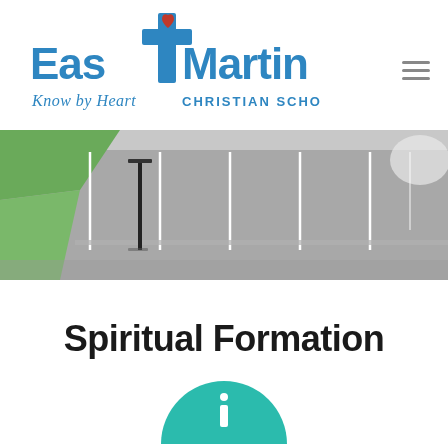[Figure (logo): East Martin Christian School logo with cross, heart, and tagline 'Know by Heart']
[Figure (photo): Aerial or overhead photo of a school parking lot with painted parking spaces and green grass on the left side]
Spiritual Formation
[Figure (other): Teal/turquoise semicircle icon partially visible at bottom of page, with a white 'i' information symbol inside]